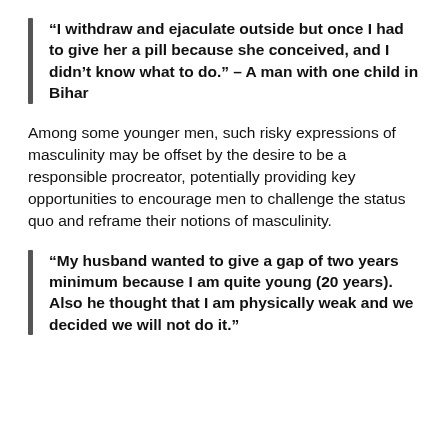“I withdraw and ejaculate outside but once I had to give her a pill because she conceived, and I didn’t know what to do.” – A man with one child in Bihar
Among some younger men, such risky expressions of masculinity may be offset by the desire to be a responsible procreator, potentially providing key opportunities to encourage men to challenge the status quo and reframe their notions of masculinity.
“My husband wanted to give a gap of two years minimum because I am quite young (20 years). Also he thought that I am physically weak and we decided we will not do it.”